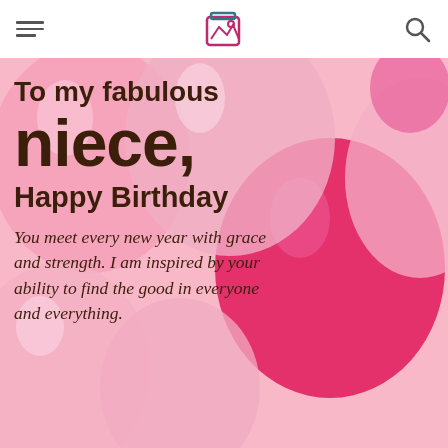[hamburger menu] [image gallery logo] [search icon]
[Figure (illustration): Pink balloons birthday card with dark brown bold serif text reading 'To my fabulous niece, Happy Birthday' and italic script text below reading 'You meet every new year with grace and strength. I am inspired by your ability to find the good in everyone and everything.']
To my fabulous niece, Happy Birthday
You meet every new year with grace and strength. I am inspired by your ability to find the good in everyone and everything.